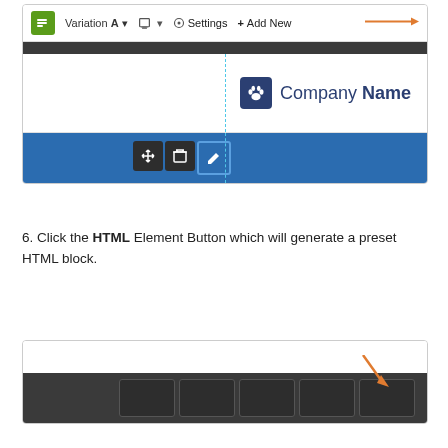[Figure (screenshot): Screenshot of a website editor toolbar showing 'Variation A', monitor icon, Settings, and '+ Add New' button with an orange arrow pointing to '+ Add New'. Below is a dark bar, then a content area with a company logo ('Company Name') on the right side of a dashed vertical line. Below that is a blue navigation bar with move, delete, and edit action buttons visible.]
6. Click the HTML Element Button which will generate a preset HTML block.
[Figure (screenshot): Partial screenshot of a website editor showing a dark toolbar strip with several icon buttons at the bottom. An orange diagonal arrow points toward the rightmost button area.]